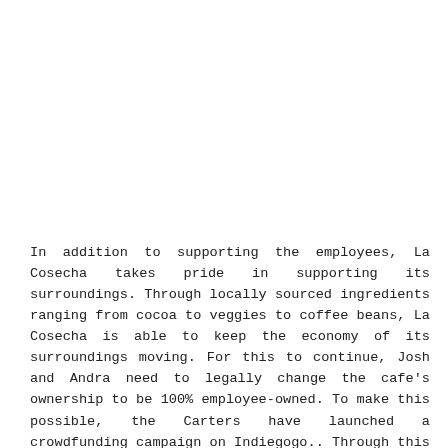In addition to supporting the employees, La Cosecha takes pride in supporting its surroundings. Through locally sourced ingredients ranging from cocoa to veggies to coffee beans, La Cosecha is able to keep the economy of its surroundings moving. For this to continue, Josh and Andra need to legally change the cafe's ownership to be 100% employee-owned. To make this possible, the Carters have launched a crowdfunding campaign on Indiegogo.. Through this campaign, readers can support the employees of La Cosecha and receive gift cards, a La